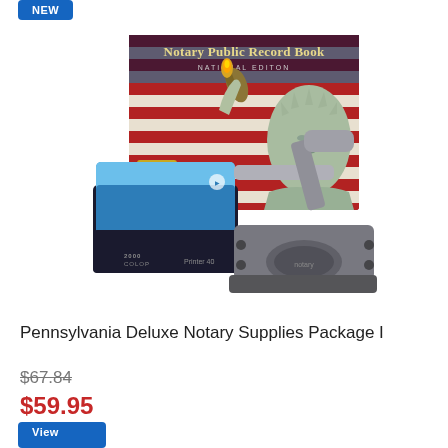[Figure (photo): Product photo showing a notary supplies package: Notary Public Record Book (National Edition) with Statue of Liberty imagery, a blue/black self-inking rubber stamp, and a metal notary seal embosser]
Pennsylvania Deluxe Notary Supplies Package I
$67.84 (strikethrough original price)
$59.95 (sale price in red)